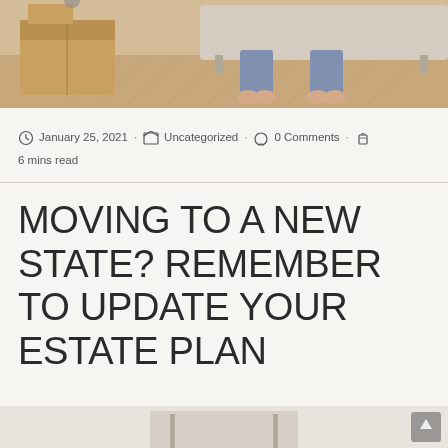[Figure (photo): Two people sitting on a floor with moving boxes, barefoot on hardwood floor]
January 25, 2021  ·  Uncategorized  ·  0 Comments  ·  6 mins read
MOVING TO A NEW STATE? REMEMBER TO UPDATE YOUR ESTATE PLAN
[Figure (photo): Partial bottom image visible, appears to be interior scene]